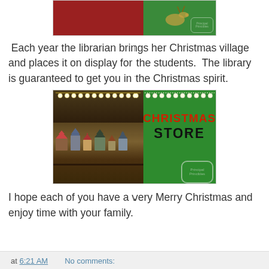[Figure (photo): Top partial image showing a red Santa-themed left half and green right half with a reindeer graphic and a Principal Princibles badge in bottom right corner]
Each year the librarian brings her Christmas village and places it on display for the students.  The library is guaranteed to get you in the Christmas spirit.
[Figure (photo): Library decorated with Christmas lights and village display on shelves on the left half; green right half with 'CHRISTMAS STORE' text in red and black, with Principal Princibles badge in lower right]
I hope each of you have a very Merry Christmas and enjoy time with your family.
at 6:21 AM   No comments: